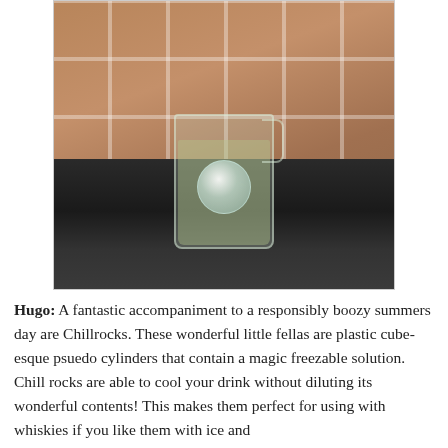[Figure (photo): A glass mug containing a yellowish-green drink with a large spherical ice ball (Chillrock) inside, sitting on a dark granite countertop against a brown tiled backsplash background.]
Hugo: A fantastic accompaniment to a responsibly boozy summers day are Chillrocks. These wonderful little fellas are plastic cube-esque psuedo cylinders that contain a magic freezable solution. Chill rocks are able to cool your drink without diluting its wonderful contents! This makes them perfect for using with whiskies if you like them with ice and